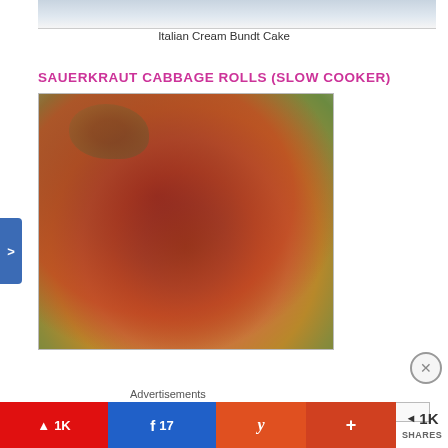[Figure (photo): Partial view of Italian Cream Bundt Cake on a decorative plate, cropped at top of page]
Italian Cream Bundt Cake
SAUERKRAUT CABBAGE ROLLS (SLOW COOKER)
[Figure (photo): Plate of sauerkraut cabbage rolls covered in tomato sauce and dark brown gravy, garnished with fresh parsley, with a fork visible on the right side of the plate]
Advertisements
[Figure (other): Advertisement banner with circular logo and blue image]
>
⊗
p 1K
f 17
y
+
< 1K SHARES